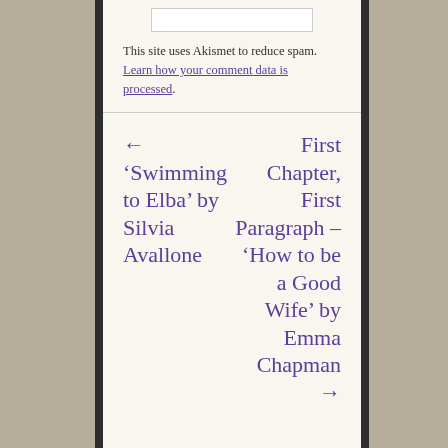This site uses Akismet to reduce spam. Learn how your comment data is processed.
← 'Swimming to Elba' by Silvia Avallone
First Chapter, First Paragraph – 'How to be a Good Wife' by Emma Chapman →